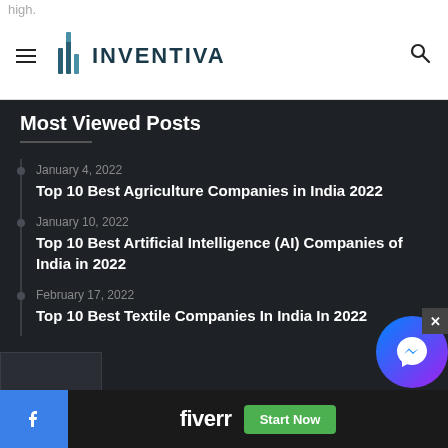high.
[Figure (logo): Inventiva logo with hamburger menu icon on left and search icon on right. Logo shows stylized building/chart icon in teal/dark blue with the wordmark INVENTIVA in uppercase.]
Most Viewed Posts
January 4, 2022
Top 10 Best Agriculture Companies in India 2022
January 10, 2022
Top 10 Best Artificial Intelligence (AI) Companies of India in 2022
February 17, 2022
Top 10 Best Textile Companies In India In 2022
[Figure (screenshot): Fiverr advertisement banner with blue Facebook icon on left, dark background with Fiverr logo in white, and a green Start Now button]
[Figure (other): Facebook Messenger chat bubble and close X button overlay]